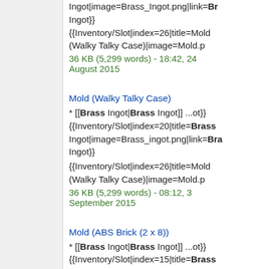Ingot|image=Brass_Ingot.png|link=Brass Ingot}}
{{Inventory/Slot|index=26|title=Mold (Walky Talky Case)|image=Mold.p
36 KB (5,299 words) - 18:42, 24 August 2015
Mold (Walky Talky Case)
* [[Brass Ingot|Brass Ingot]] ...ot}}
{{Inventory/Slot|index=20|title=Brass Ingot|image=Brass_ingot.png|link=Brass Ingot}}
{{Inventory/Slot|index=26|title=Mold (Walky Talky Case)|image=Mold.p
36 KB (5,299 words) - 08:12, 3 September 2015
Mold (ABS Brick (2 x 8))
* [[Brass Ingot|Brass Ingot]] ...ot}}
{{Inventory/Slot|index=15|title=Brass Ingot|image=Brass_ingot.png|link=Br